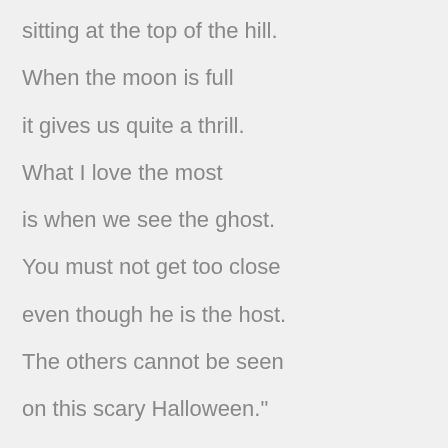sitting at the top of the hill.
When the moon is full
it gives us quite a thrill.
What I love the most
is when we see the ghost.
You must not get too close
even though he is the host.
The others cannot be seen
on this scary Halloween."
"Barbara Bryan's newly released volume of poetry teaches children about the best loved